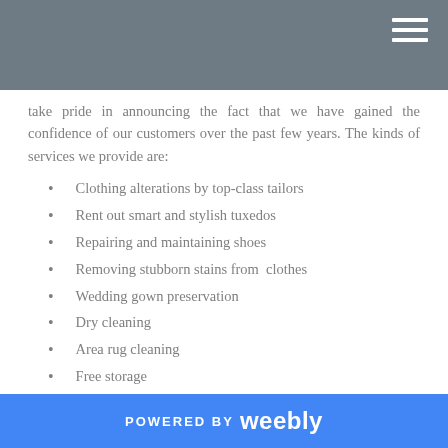take pride in announcing the fact that we have gained the confidence of our customers over the past few years. The kinds of services we provide are:
Clothing alterations by top-class tailors
Rent out smart and stylish tuxedos
Repairing and maintaining shoes
Removing stubborn stains from clothes
Wedding gown preservation
Dry cleaning
Area rug cleaning
Free storage
And if you are wondering why you should choose us? Well, here are the reasons:
It is an “all in one” service station – No longer do you need to go to the tailor for altering your favorite jeans, going to the laundry for dry cleaning your favorite shirt, and then again visiting the cobbler for shoe repairing. We are basically “one stop” destination, who provides all kinds of services from wedding gown preservation to dry cleaning clothes. Contact us at the earliest.
POWERED BY weebly